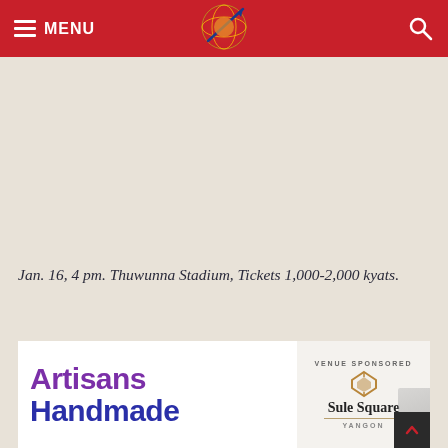MENU [logo] [search]
Jan. 16, 4 pm. Thuwunna Stadium, Tickets 1,000-2,000 kyats.
[Figure (illustration): Advertisement banner for Artisans Handmade, venue sponsored by Sule Square Yangon]